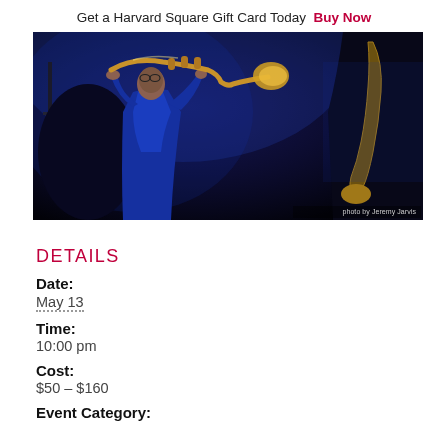Get a Harvard Square Gift Card Today  Buy Now
[Figure (photo): A jazz musician in a blue suit playing trumpet on a dark stage, lit with blue stage lighting. Photo credit: photo by Jeremy Jarvis]
DETAILS
Date:
May 13
Time:
10:00 pm
Cost:
$50 – $160
Event Category: